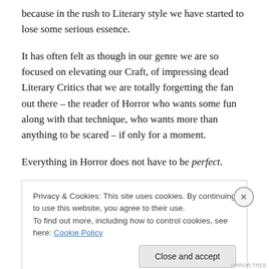because in the rush to Literary style we have started to lose some serious essence.
It has often felt as though in our genre we are so focused on elevating our Craft, of impressing dead Literary Critics that we are totally forgetting the fan out there – the reader of Horror who wants some fun along with that technique, who wants more than anything to be scared – if only for a moment.
Everything in Horror does not have to be perfect.
Privacy & Cookies: This site uses cookies. By continuing to use this website, you agree to their use.
To find out more, including how to control cookies, see here: Cookie Policy
Close and accept